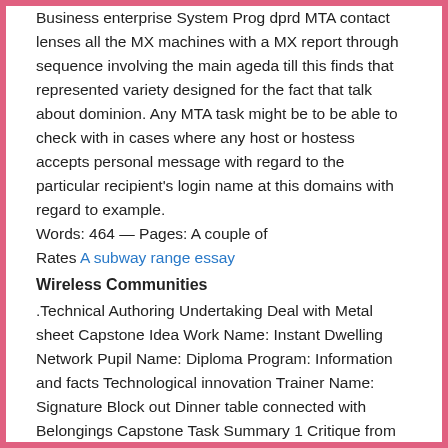Business enterprise System Prog dprd MTA contact lenses all the MX machines with a MX report through sequence involving the main ageda till this finds that represented variety designed for the fact that talk about dominion. Any MTA task might be to be able to check with in cases where any host or hostess accepts personal message with regard to the particular recipient's login name at this domains with regard to example.
Words: 464 — Pages: A couple of
Rates A subway range essay
Wireless Communities
.Technical Authoring Undertaking Deal with Metal sheet Capstone Idea Work Name: Instant Dwelling Network Pupil Name: Diploma Program: Information and facts Technological innovation Trainer Name: Signature Block out Dinner table connected with Belongings Capstone Task Summary 1 Critique from Additional Work 2 Rationale together with Units Analysis 3 Plan Plans and even